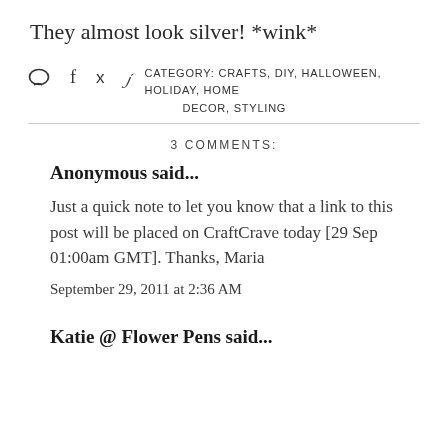They almost look silver! *wink*
CATEGORY: CRAFTS, DIY, HALLOWEEN, HOLIDAY, HOME DECOR, STYLING
3 COMMENTS:
Anonymous said...
Just a quick note to let you know that a link to this post will be placed on CraftCrave today [29 Sep 01:00am GMT]. Thanks, Maria
September 29, 2011 at 2:36 AM
Katie @ Flower Pens said...